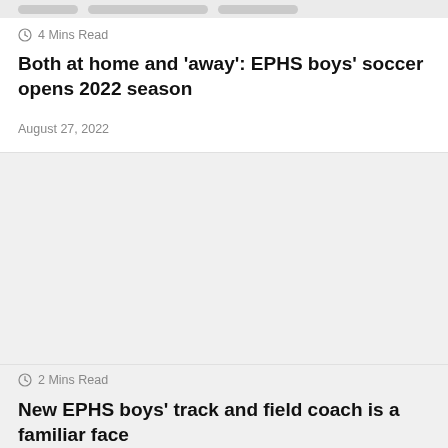[Figure (other): Top navigation/header bar with decorative pill shapes in gray]
4 Mins Read
Both at home and ‘away’: EPHS boys’ soccer opens 2022 season
August 27, 2022
[Figure (photo): Large image placeholder area (blank/light gray)]
2 Mins Read
New EPHS boys’ track and field coach is a familiar face